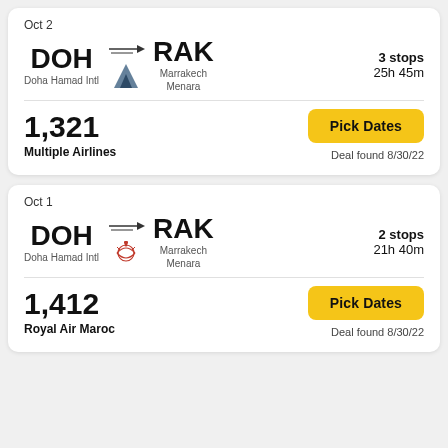Oct 2
DOH → RAK
Doha Hamad Intl | Marrakech Menara
3 stops
25h 45m
1,321
Multiple Airlines
Pick Dates
Deal found 8/30/22
Oct 1
DOH → RAK
Doha Hamad Intl | Marrakech Menara
2 stops
21h 40m
1,412
Royal Air Maroc
Pick Dates
Deal found 8/30/22